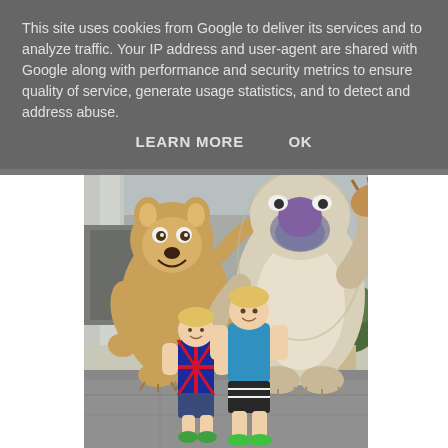This site uses cookies from Google to deliver its services and to analyze traffic. Your IP address and user-agent are shared with Google along with performance and security metrics to ensure quality of service, generate usage statistics, and to detect and address abuse.
LEARN MORE    OK
[Figure (photo): Two young boys posing with two large Ice Age movie character mascots (Scrat the squirrel and Sid the sloth) on a city street. The smaller boy wears a Union Jack t-shirt, the older boy wears a blue t-shirt. Background shows columns and potted topiary bushes.]